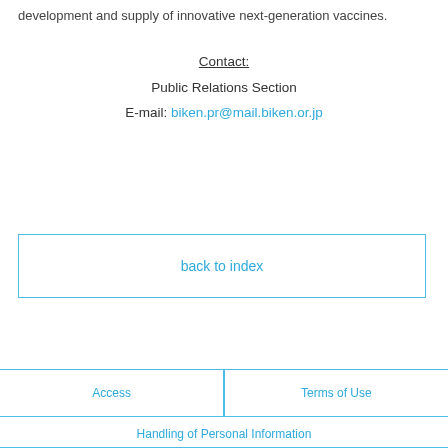development and supply of innovative next-generation vaccines.
Contact:
Public Relations Section
E-mail: biken.pr@mail.biken.or.jp
back to index
Access  |  Terms of Use
Handling of Personal Information